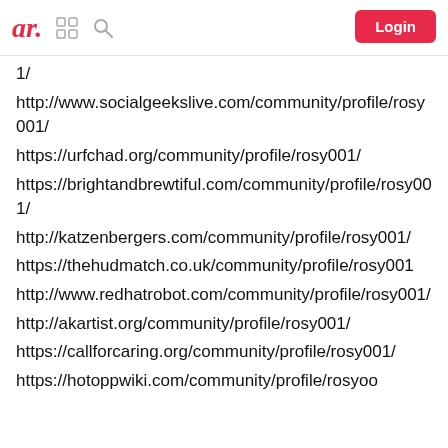ar. [grid icon] [search icon] Login
1/
http://www.socialgeekslive.com/community/profile/rosy001/
https://urfchad.org/community/profile/rosy001/
https://brightandbrewtiful.com/community/profile/rosy001/
http://katzenbergers.com/community/profile/rosy001/
https://thehudmatch.co.uk/community/profile/rosy001
http://www.redhatrobot.com/community/profile/rosy001/
http://akartist.org/community/profile/rosy001/
https://callforcaring.org/community/profile/rosy001/
https://hotoppwiki.com/community/profile/rosyoo